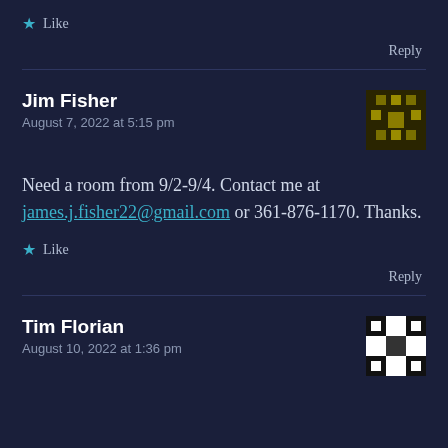Like
Reply
Jim Fisher
August 7, 2022 at 5:15 pm
Need a room from 9/2-9/4. Contact me at james.j.fisher22@gmail.com or 361-876-1170. Thanks.
Like
Reply
Tim Florian
August 10, 2022 at 1:36 pm